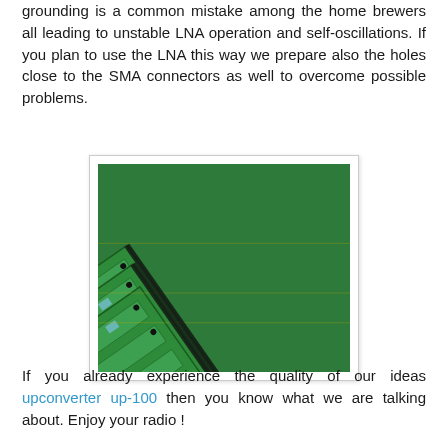grounding is a common mistake among the home brewers all leading to unstable LNA operation and self-oscillations. If you plan to use the LNA this way we prepare also the holes close to the SMA connectors as well to overcome possible problems.
[Figure (photo): Photograph of multiple green printed circuit boards (PCBs) with electronic components, stacked and fanned out diagonally showing LNA modules.]
If you already experience the quality of our ideas upconverter up-100 then you know what we are talking about. Enjoy your radio !